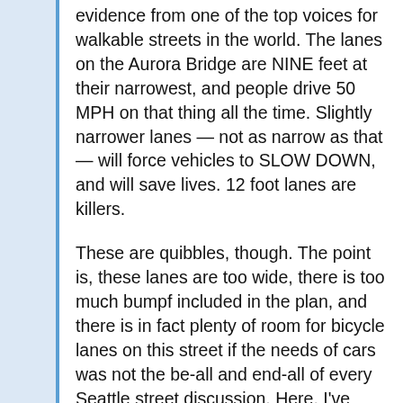evidence from one of the top voices for walkable streets in the world. The lanes on the Aurora Bridge are NINE feet at their narrowest, and people drive 50 MPH on that thing all the time. Slightly narrower lanes — not as narrow as that — will force vehicles to SLOW DOWN, and will save lives. 12 foot lanes are killers.
These are quibbles, though. The point is, these lanes are too wide, there is too much bumpf included in the plan, and there is in fact plenty of room for bicycle lanes on this street if the needs of cars was not the be-all and end-all of every Seattle street discussion. Here, I've gone and designed it for you, using Streetmix.net (even if you think I'm full of crap you have to agree that this is a cool site, try it): http://streetmix.net/-/12893.